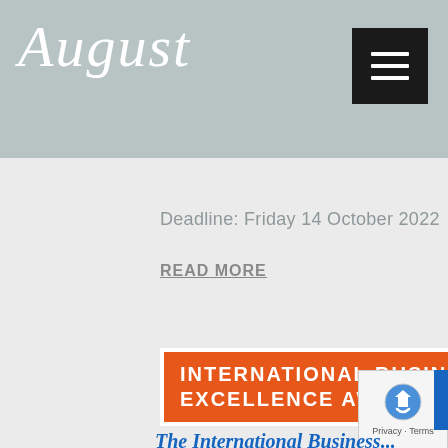August
...strategy/...
Deadline: Friday 14 October 2022
READ MORE
[Figure (logo): Orange banner reading INTERNATIONAL BUSINESS EXCELLENCE AWARDS™ 2023]
The International Business...